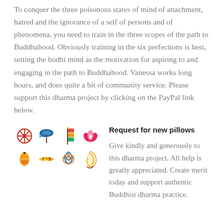To conquer the three poisonous states of mind of attachment, hatred and the ignorance of a self of persons and of phenomena, you need to train in the three scopes of the path to Buddhahood. Obviously training in the six perfections is best, setting the bodhi mind as the motivation for aspiring to and engaging in the path to Buddhahood. Vanessa works long hours, and does quite a bit of community service. Please support this dharma project by clicking on the PayPal link below.
Request for new pillows
[Figure (illustration): Eight Tibetan Buddhist auspicious symbols (Ashtamangala) arranged in a 4x2 grid, rendered as colorful icons including dharma wheel, parasol, victory banner, lotus, treasure vase, golden fish, endless knot, and conch shell.]
Give kindly and generously to this dharma project. All help is greatly appreciated. Create merit today and support authentic Buddhist dharma practice.